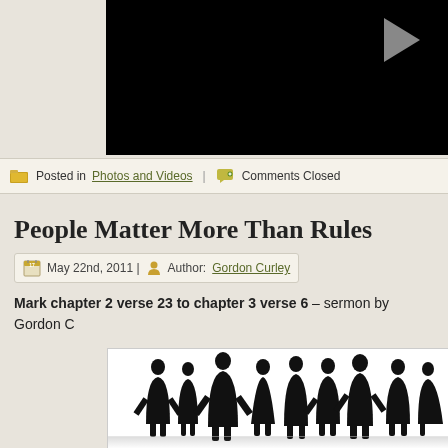[Figure (screenshot): Black video player area with a gray play button triangle in the upper right]
Posted in Photos and Videos | Comments Closed
People Matter More Than Rules
May 22nd, 2011 | Author: Gordon Curley
Mark chapter 2 verse 23 to chapter 3 verse 6 – sermon by Gordon C
[Figure (illustration): Silhouettes of a group of people standing, with reflections below, on white background]